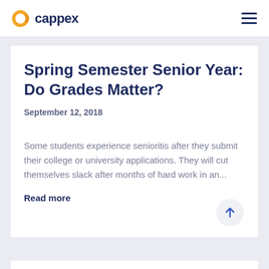cappex
Spring Semester Senior Year: Do Grades Matter?
September 12, 2018
Some students experience senioritis after they submit their college or university applications. They will cut themselves slack after months of hard work in an...
Read more